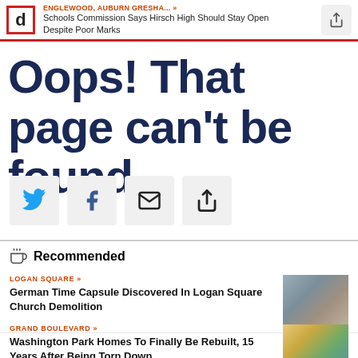ENGLEWOOD, AUBURN GRESHA... » Schools Commission Says Hirsch High Should Stay Open Despite Poor Marks
Oops! That page can't be found.
[Figure (infographic): Social sharing buttons row: Twitter, Facebook, Email, Share icons]
Recommended
LOGAN SQUARE »
German Time Capsule Discovered In Logan Square Church Demolition
GRAND BOULEVARD »
Washington Park Homes To Finally Be Rebuilt, 15 Years After Being Torn Down